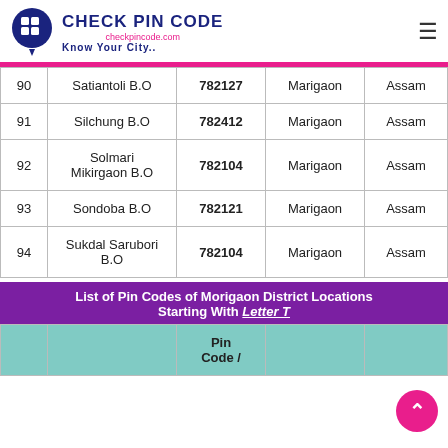[Figure (logo): Check Pin Code logo with text 'Check Pin Code', 'checkpincode.com', 'Know Your City..']
| # | Name | Pin Code | District | State |
| --- | --- | --- | --- | --- |
| 90 | Satiantoli B.O | 782127 | Marigaon | Assam |
| 91 | Silchung B.O | 782412 | Marigaon | Assam |
| 92 | Solmari Mikirgaon B.O | 782104 | Marigaon | Assam |
| 93 | Sondoba B.O | 782121 | Marigaon | Assam |
| 94 | Sukdal Sarubori B.O | 782104 | Marigaon | Assam |
List of Pin Codes of Morigaon District Locations Starting With Letter T
|  |  | Pin Code / |  |  |
| --- | --- | --- | --- | --- |